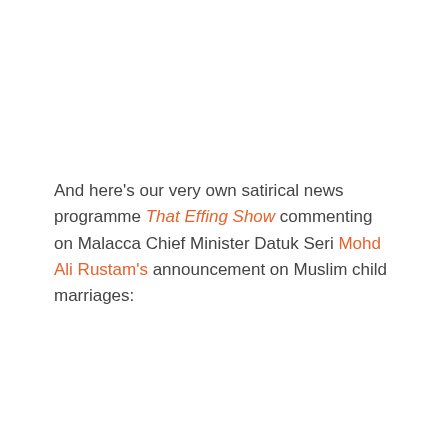And here's our very own satirical news programme That Effing Show commenting on Malacca Chief Minister Datuk Seri Mohd Ali Rustam's announcement on Muslim child marriages: